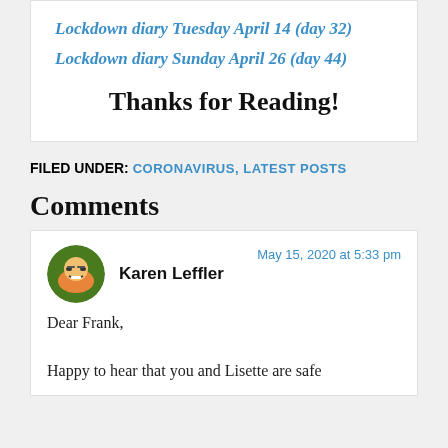Lockdown diary Tuesday April 14 (day 32)
Lockdown diary Sunday April 26 (day 44)
Thanks for Reading!
FILED UNDER: CORONAVIRUS, LATEST POSTS
Comments
Karen Leffler
May 15, 2020 at 5:33 pm

Dear Frank,

Happy to hear that you and Lisette are safe